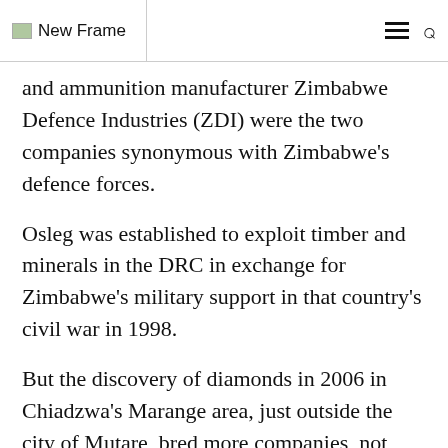New Frame
and ammunition manufacturer Zimbabwe Defence Industries (ZDI) were the two companies synonymous with Zimbabwe's defence forces.
Osleg was established to exploit timber and minerals in the DRC in exchange for Zimbabwe's military support in that country's civil war in 1998.
But the discovery of diamonds in 2006 in Chiadzwa's Marange area, just outside the city of Mutare, bred more companies, not only for